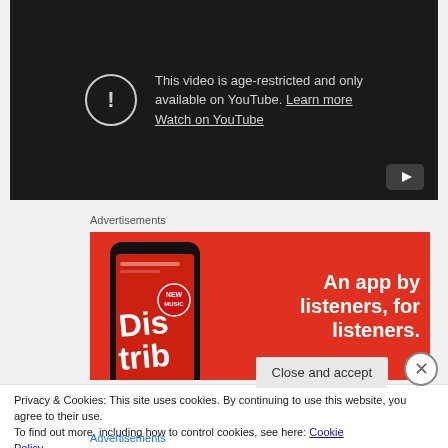[Figure (screenshot): YouTube age-restricted video embed with dark background, warning icon, text 'This video is age-restricted and only available on YouTube. Learn more. Watch on YouTube', and YouTube play button in bottom right corner.]
Advertisements
[Figure (screenshot): Red advertisement banner reading 'An app by listeners, for listeners.' with a phone showing the Distrib app on the left side.]
Privacy & Cookies: This site uses cookies. By continuing to use this website, you agree to their use.
To find out more, including how to control cookies, see here: Cookie Policy
Close and accept
Advertisements